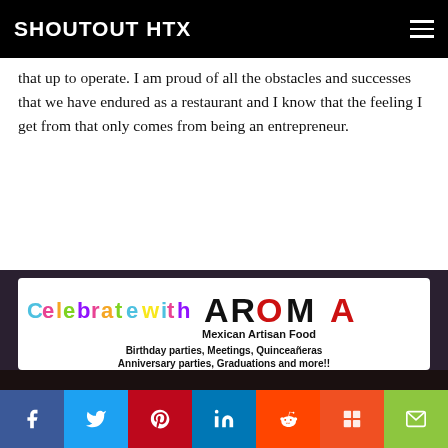SHOUTOUT HTX
that up to operate. I am proud of all the obstacles and successes that we have endured as a restaurant and I know that the feeling I get from that only comes from being an entrepreneur.
[Figure (advertisement): Aroma Mexican Artisan Food advertisement. Text: Celebrate with AROMA Mexican Artisan Food. Birthday parties, Meetings, Quinceañeras Anniversary parties, Graduations and more!! 7626 Fry Rd, Cypress, TX 77433 (832) 427-1059. Background shows a photo of people gathered in a restaurant.]
Facebook Twitter Pinterest LinkedIn Reddit Mix Email social share buttons